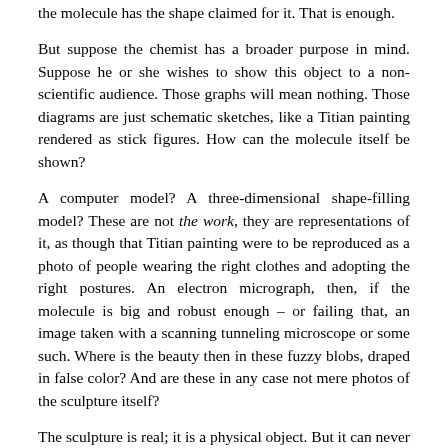the molecule has the shape claimed for it. That is enough.
But suppose the chemist has a broader purpose in mind. Suppose he or she wishes to show this object to a non-scientific audience. Those graphs will mean nothing. Those diagrams are just schematic sketches, like a Titian painting rendered as stick figures. How can the molecule itself be shown?
A computer model? A three-dimensional shape-filling model? These are not the work, they are representations of it, as though that Titian painting were to be reproduced as a photo of people wearing the right clothes and adopting the right postures. An electron micrograph, then, if the molecule is big and robust enough – or failing that, an image taken with a scanning tunneling microscope or some such. Where is the beauty then in these fuzzy blobs, draped in false color? And are these in any case not mere photos of the sculpture itself?
The sculpture is real; it is a physical object. But it can never be seen. This is true not just in practice but in principle. We cannot see it. Light will not